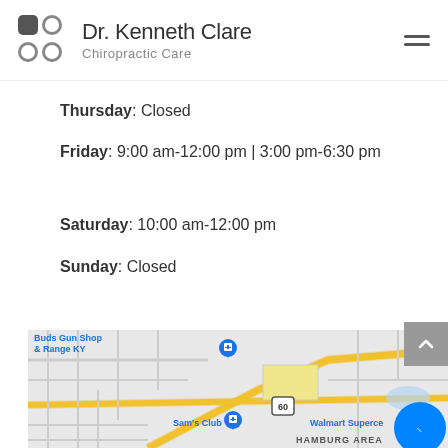Dr. Kenneth Clare Chiropractic Care
Thursday: Closed
Friday: 9:00 am-12:00 pm | 3:00 pm-6:30 pm
Saturday: 10:00 am-12:00 pm
Sunday: Closed
[Figure (map): Google map showing Hamburg Area of Lexington, KY with labels for Buds Gun Shop & Range KY, Sam's Club, Walmart Supercenter, route 60 marker, and HAMBURG AREA label]